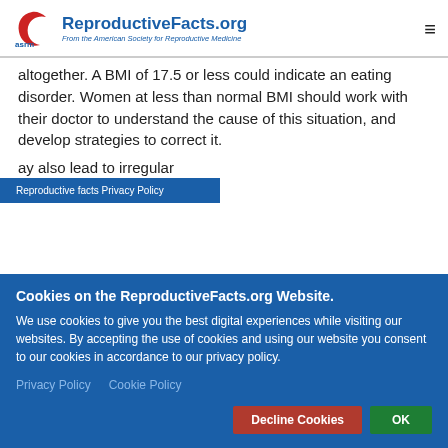ReproductiveFacts.org — From the American Society for Reproductive Medicine
altogether. A BMI of 17.5 or less could indicate an eating disorder. Women at less than normal BMI should work with their doctor to understand the cause of this situation, and develop strategies to correct it.
...ay also lead to irregular ...tion. However, even obese
Reproductive facts Privacy Policy
Cookies on the ReproductiveFacts.org Website.
We use cookies to give you the best digital experiences while visiting our websites. By accepting the use of cookies and using our website you consent to our cookies in accordance to our privacy policy.
Privacy Policy   Cookie Policy
Decline Cookies   OK